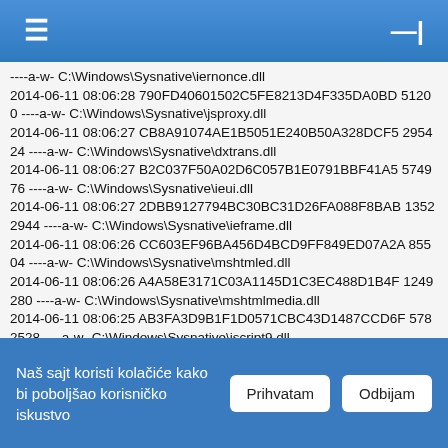☰  ⊣|
----a-w- C:\Windows\Sysnative\iernonce.dll
2014-06-11 08:06:28 790FD40601502C5FE8213D4F335DA0BD 51200 ----a-w- C:\Windows\Sysnative\jsproxy.dll
2014-06-11 08:06:27 CB8A91074AE1B5051E240B50A328DCF5 295424 ----a-w- C:\Windows\Sysnative\dxtrans.dll
2014-06-11 08:06:27 B2C037F50A02D6C057B1E0791BBF41A5 574976 ----a-w- C:\Windows\Sysnative\ieui.dll
2014-06-11 08:06:27 2DBB9127794BC30BC31D26FA088F8BAB 13522944 ----a-w- C:\Windows\Sysnative\ieframe.dll
2014-06-11 08:06:26 CC603EF96BA456D4BCD9FF849ED07A2A 85504 ----a-w- C:\Windows\Sysnative\mshtmled.dll
2014-06-11 08:06:26 A4A58E3171C03A1145D1C3EC488D1B4F 1249280 ----a-w- C:\Windows\Sysnative\mshtmlmedia.dll
2014-06-11 08:06:25 AB3FA3D9B1F1D0571CBC43D1487CCD6F 5782528 ----a-w- C:\Windows\Sysnative\jscript9.dll
2014-06-11 08:06:25 770F067D833DC017CEB8A36A2A1EC942 139264 ----a-w- C:\Windows\Sysnative\ieUnatt.exe
2014-06-11 08:06:25 6B9925F498D4E91FB57576CC3776D428 752640 ----a-w- C:\Windows\Sysnative\jscript9diag.dll
2014-06-11 08:06:24 9013D5BBE1B6D3A060F54B4B5BB2C3A3
Naš sajt koristi kolačiće kako bi poboljšao korisničko iskustvo
Prihvatam
Odbijam